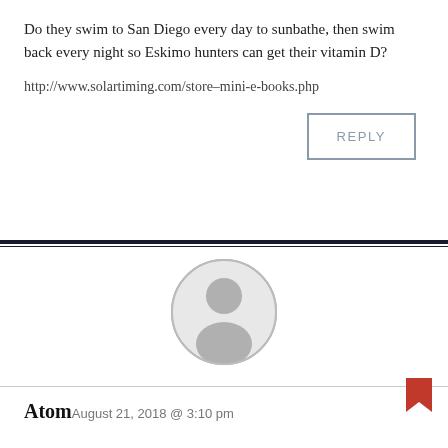Do they swim to San Diego every day to sunbathe, then swim back every night so Eskimo hunters can get their vitamin D?
http://www.solartiming.com/store–mini-e-books.php
REPLY
[Figure (illustration): Generic user avatar: circular outline with a grey silhouette of a person (head and shoulders)]
Atom
August 21, 2018 @ 3:10 pm